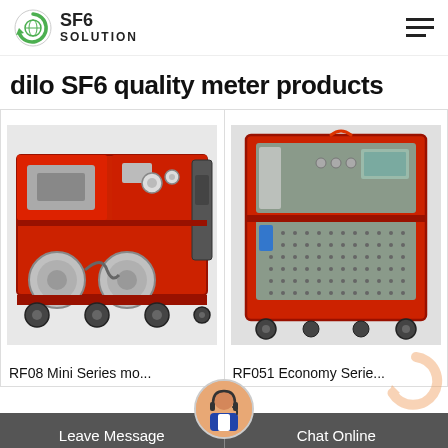SF6 SOLUTION
dilo SF6 quality meter products
[Figure (photo): RF08 Mini Series mobile SF6 gas handling unit — red metal frame equipment with cylinders, gauges, and hoses on wheels]
RF08 Mini Series mo...
[Figure (photo): RF051 Economy Series SF6 gas cart — gray/green cabinet with red metal frame, panels with holes for ventilation, display and controls, on wheels]
RF051 Economy Serie...
Leave Message    Chat Online